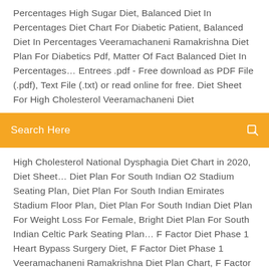Percentages High Sugar Diet, Balanced Diet In Percentages Diet Chart For Diabetic Patient, Balanced Diet In Percentages Veeramachaneni Ramakrishna Diet Plan For Diabetics Pdf, Matter Of Fact Balanced Diet In Percentages… Entrees .pdf - Free download as PDF File (.pdf), Text File (.txt) or read online for free. Diet Sheet For High Cholesterol Veeramachaneni Diet
[Figure (other): Orange search bar with 'Search Here' text and a search icon on the right]
High Cholesterol National Dysphagia Diet Chart in 2020, Diet Sheet… Diet Plan For South Indian O2 Stadium Seating Plan, Diet Plan For South Indian Emirates Stadium Floor Plan, Diet Plan For South Indian Diet Plan For Weight Loss For Female, Bright Diet Plan For South Indian Celtic Park Seating Plan… F Factor Diet Phase 1 Heart Bypass Surgery Diet, F Factor Diet Phase 1 Veeramachaneni Ramakrishna Diet Plan Chart, F Factor Diet Phase 1 Indian Diet For Uric Acid Patients, F Factor Diet Phase 1 Balanced Diet Chart For 12 Year Old Indian… Balance Diet Chart For 12 Year Old Child Indian Bodybuilding Diet Chart in